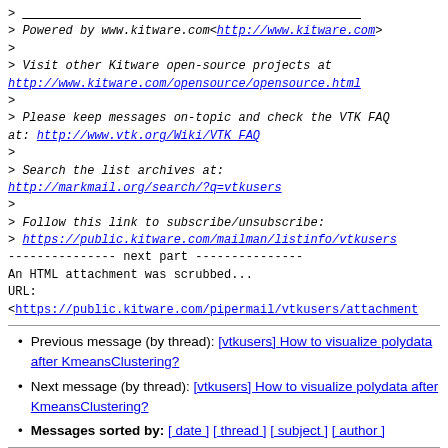> _______________________________________________
> Powered by www.kitware.com<http://www.kitware.com>
>
> Visit other Kitware open-source projects at
http://www.kitware.com/opensource/opensource.html
>
> Please keep messages on-topic and check the VTK FAQ
at: http://www.vtk.org/Wiki/VTK_FAQ
>
> Search the list archives at:
http://markmail.org/search/?q=vtkusers
>
> Follow this link to subscribe/unsubscribe:
> https://public.kitware.com/mailman/listinfo/vtkusers
--------------- next part ---------------
An HTML attachment was scrubbed...
URL:
<https://public.kitware.com/pipermail/vtkusers/attachment
Previous message (by thread): [vtkusers] How to visualize polydata after KmeansClustering?
Next message (by thread): [vtkusers] How to visualize polydata after KmeansClustering?
Messages sorted by: [ date ] [ thread ] [ subject ] [ author ]
More information about the vtkusers mailing list